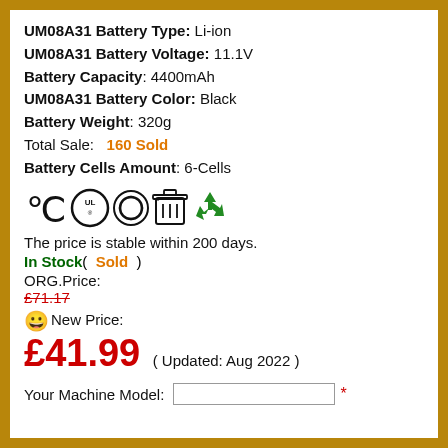UM08A31 Battery Type: Li-ion
UM08A31 Battery Voltage: 11.1V
Battery Capacity: 4400mAh
UM08A31 Battery Color: Black
Battery Weight: 320g
Total Sale: 160 Sold
Battery Cells Amount: 6-Cells
[Figure (other): Certification icons: CE, UL, recycling symbol, WEEE bin, green recycle arrow]
The price is stable within 200 days.
In Stock( Sold )
ORG.Price:
£71.17 (strikethrough)
New Price:
£41.99
( Updated: Aug 2022 )
Your Machine Model: [input field] *